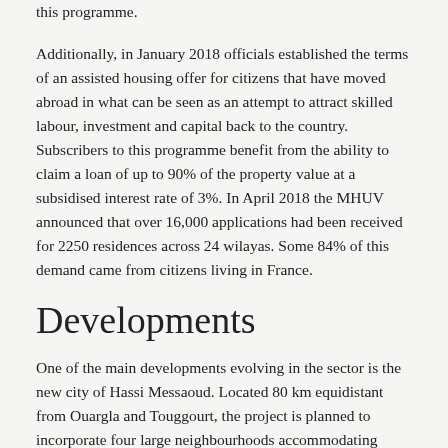this programme.
Additionally, in January 2018 officials established the terms of an assisted housing offer for citizens that have moved abroad in what can be seen as an attempt to attract skilled labour, investment and capital back to the country. Subscribers to this programme benefit from the ability to claim a loan of up to 90% of the property value at a subsidised interest rate of 3%. In April 2018 the MHUV announced that over 16,000 applications had been received for 2250 residences across 24 wilayas. Some 84% of this demand came from citizens living in France.
Developments
One of the main developments evolving in the sector is the new city of Hassi Messaoud. Located 80 km equidistant from Ouargla and Touggourt, the project is planned to incorporate four large neighbourhoods accommodating approximately 20,000 people each by completion in 2030. In February 2018 a call was placed for both public and private property developers interested in the